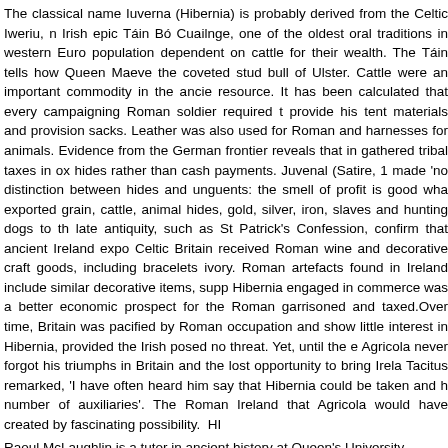The classical name Iuverna (Hibernia) is probably derived from the Celtic Iweriu, n... Irish epic Táin Bó Cuailnge, one of the oldest oral traditions in western Euro... population dependent on cattle for their wealth. The Táin tells how Queen Maeve... the coveted stud bull of Ulster. Cattle were an important commodity in the ancie... resource. It has been calculated that every campaigning Roman soldier required t... provide his tent materials and provision sacks. Leather was also used for Roman... and harnesses for animals. Evidence from the German frontier reveals that in... gathered tribal taxes in ox hides rather than cash payments. Juvenal (Satire, 1... made 'no distinction between hides and unguents: the smell of profit is good wha... exported grain, cattle, animal hides, gold, silver, iron, slaves and hunting dogs to th... late antiquity, such as St Patrick's Confession, confirm that ancient Ireland expo... Celtic Britain received Roman wine and decorative craft goods, including bracelets... ivory. Roman artefacts found in Ireland include similar decorative items, supp... Hibernia engaged in commerce was a better economic prospect for the Roman... garrisoned and taxed. Over time, Britain was pacified by Roman occupation and... show little interest in Hibernia, provided the Irish posed no threat. Yet, until the e... Agricola never forgot his triumphs in Britain and the lost opportunity to bring Irela... Tacitus remarked, 'I have often heard him say that Hibernia could be taken and h... number of auxiliaries'. The Roman Ireland that Agricola would have created by... fascinating possibility. HI
Raoul McLaughlin is a tutor in ancient history at Queen's University, Belfast.
Further reading: